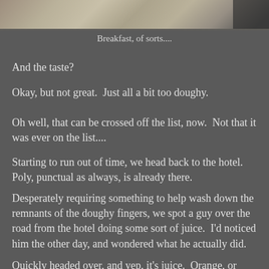[Figure (photo): A photo of breakfast food items on a plate or surface, partially visible at the top of the page]
Breakfast, of sorts....
And the taste?
Okay, but not great.  Just all a bit too doughy.
Oh well, that can be crossed off the list, now.  Not that it was ever on the list....
Starting to run out of time, we head back to the hotel.  Poly, punctual as always, is already there.
Desperately requiring something to help wash down the remnants of the doughy fingers, we spot a guy over the road from the hotel doing some sort of juice.  I'd noticed him the other day, and wondered what he actually did.
Quickly headed over, and yep, it's juice.  Orange, or